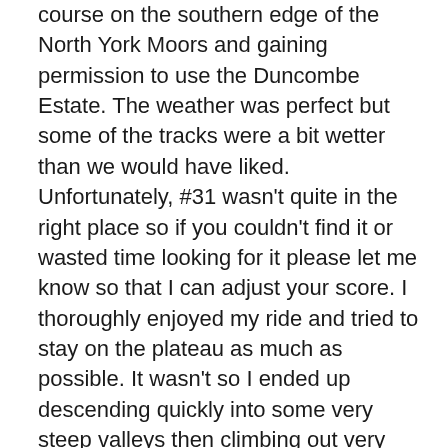course on the southern edge of the North York Moors and gaining permission to use the Duncombe Estate. The weather was perfect but some of the tracks were a bit wetter than we would have liked. Unfortunately, #31 wasn't quite in the right place so if you couldn't find it or wasted time looking for it please let me know so that I can adjust your score. I thoroughly enjoyed my ride and tried to stay on the plateau as much as possible. It wasn't so I ended up descending quickly into some very steep valleys then climbing out very slowly . Thanks as ever to Jens for another excellent map; Michael for putting out all of the controls; Geoff Moorhouse, Barbara Willis & John Dixon for their help on the day as well as the control collectors.
It was Edwyn's turn to win this time with an excellent score of 465; Sheila Pearce made it a double winning weekend with 325 points and the Brand-Barkers won their 3rd